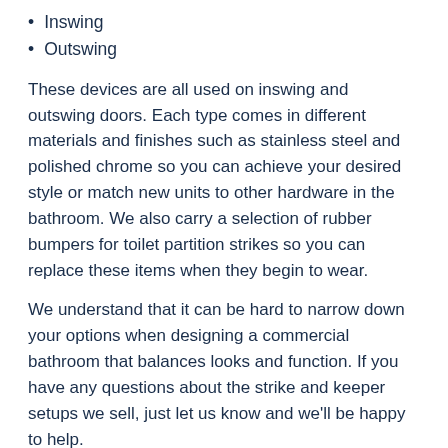Inswing
Outswing
These devices are all used on inswing and outswing doors. Each type comes in different materials and finishes such as stainless steel and polished chrome so you can achieve your desired style or match new units to other hardware in the bathroom. We also carry a selection of rubber bumpers for toilet partition strikes so you can replace these items when they begin to wear.
We understand that it can be hard to narrow down your options when designing a commercial bathroom that balances looks and function. If you have any questions about the strike and keeper setups we sell, just let us know and we'll be happy to help.
REQUEST A FREE QUOTE ON OUR